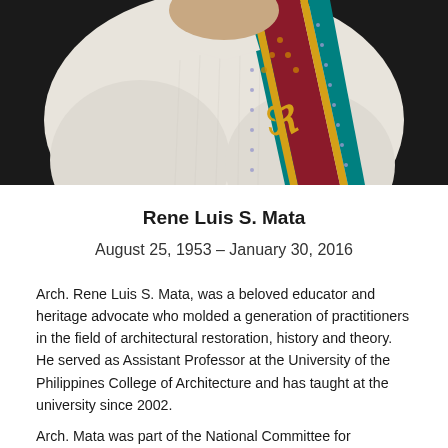[Figure (photo): Close-up photograph of a person wearing a white barong tagalog (traditional Filipino formal shirt) with an academic stole in crimson/maroon with teal, gold, and embroidered trim containing a symbol. Background is dark/black.]
Rene Luis S. Mata
August 25, 1953 – January 30, 2016
Arch. Rene Luis S. Mata, was a beloved educator and heritage advocate who molded a generation of practitioners in the field of architectural restoration, history and theory. He served as Assistant Professor at the University of the Philippines College of Architecture and has taught at the university since 2002.
Arch. Mata was part of the National Committee for